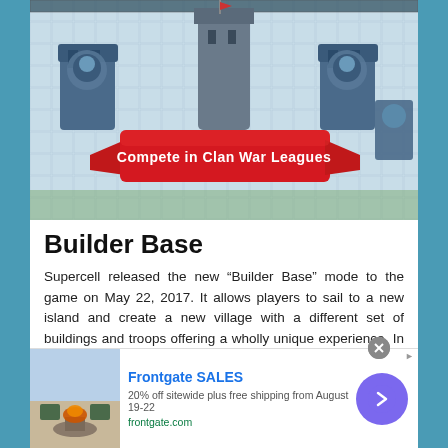[Figure (screenshot): Game screenshot showing 'Compete in Clan War Leagues' banner on a red ribbon, with game village buildings and defenses on a tiled background]
Builder Base
Supercell released the new “Builder Base” mode to the game on May 22, 2017. It allows players to sail to a new island and create a new village with a different set of buildings and troops offering a wholly unique experience. In the “Builder Base” mode, players cannot raid the village; instead, players can attack each other’s bases simultaneously. The player who deals the most damage or
[Figure (infographic): Frontgate advertisement banner showing outdoor furniture with fire pit, text: Frontgate SALES, 20% off sitewide plus free shipping from August 19-22, frontgate.com]